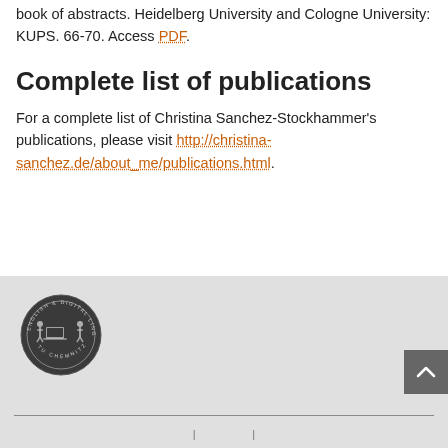book of abstracts. Heidelberg University and Cologne University: KUPS. 66-70. Access PDF.
Complete list of publications
For a complete list of Christina Sanchez-Stockhammer's publications, please visit http://christina-sanchez.de/about_me/publications.html.
[Figure (logo): Circular seal/logo for English & Digital Linguistics, TU Chemnitz, dark grey with illustrated figures]
Footer navigation with separator line and navigation links